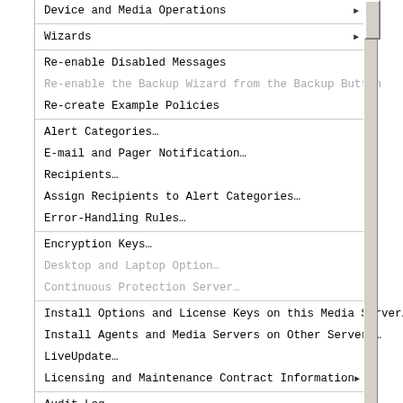Device and Media Operations ▶
Wizards ▶
Re-enable Disabled Messages
Re-enable the Backup Wizard from the Backup Button (disabled)
Re-create Example Policies
Alert Categories…
E-mail and Pager Notification…
Recipients…
Assign Recipients to Alert Categories…
Error-Handling Rules…
Encryption Keys…
Desktop and Laptop Option… (disabled)
Continuous Protection Server… (disabled)
Install Options and License Keys on this Media Server…
Install Agents and Media Servers on Other Servers…
LiveUpdate…
Licensing and Maintenance Contract Information ▶
Audit Log…
Set Central Administration Server…